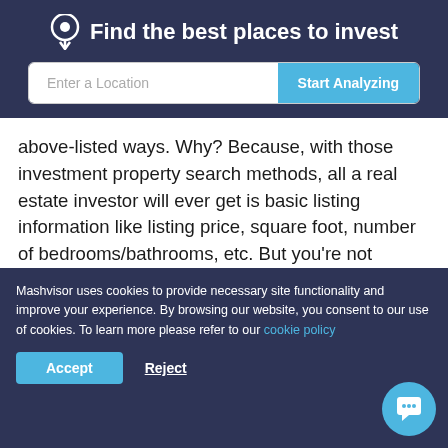Find the best places to invest
above-listed ways. Why? Because, with those investment property search methods, all a real estate investor will ever get is basic listing information like listing price, square foot, number of bedrooms/bathrooms, etc. But you're not buying a home to live in – you're buying multi family homes for investment and you need so much more than this.
So What Is the Best Way to Find...
Mashvisor uses cookies to provide necessary site functionality and improve your experience. By browsing our website, you consent to our use of cookies. To learn more please refer to our cookie policy